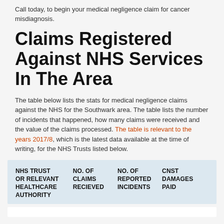Call today, to begin your medical negligence claim for cancer misdiagnosis.
Claims Registered Against NHS Services In The Area
The table below lists the stats for medical negligence claims against the NHS for the Southwark area. The table lists the number of incidents that happened, how many claims were received and the value of the claims processed. The table is relevant to the years 2017/8, which is the latest data available at the time of writing, for the NHS Trusts listed below.
| NHS TRUST OR RELEVANT HEALTHCARE AUTHORITY | NO. OF CLAIMS RECIEVED | NO. OF REPORTED INCIDENTS | CNST DAMAGES PAID |
| --- | --- | --- | --- |